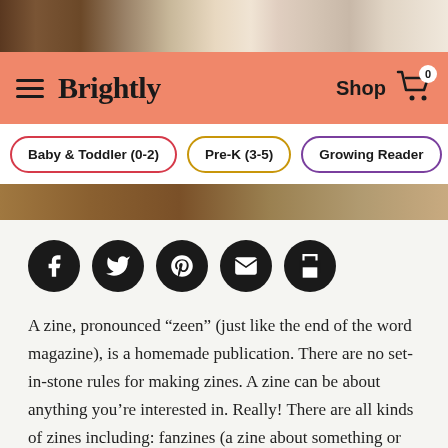[Figure (screenshot): Top image strip showing book covers and crafts]
Brightly — Shop (navigation bar with hamburger menu, brand name, Shop link, and cart icon with 0 badge)
Baby & Toddler (0-2) | Pre-K (3-5) | Growing Reader
[Figure (screenshot): Wooden table background banner strip]
[Figure (infographic): Social sharing icons: Facebook, Twitter, Pinterest, Email, Print]
A zine, pronounced “zeen” (just like the end of the word magazine), is a homemade publication. There are no set-in-stone rules for making zines. A zine can be about anything you’re interested in. Really! There are all kinds of zines including: fanzines (a zine about something or someone you love), cooking zines full of recipes and tips, comic zines, art zines, poetry zines, and personal zines where people write